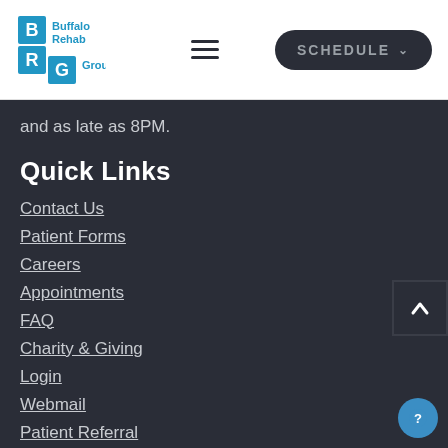Buffalo Rehab Group – Navigation bar with logo, hamburger menu, and SCHEDULE button
and as late as 8PM.
Quick Links
Contact Us
Patient Forms
Careers
Appointments
FAQ
Charity & Giving
Login
Webmail
Patient Referral